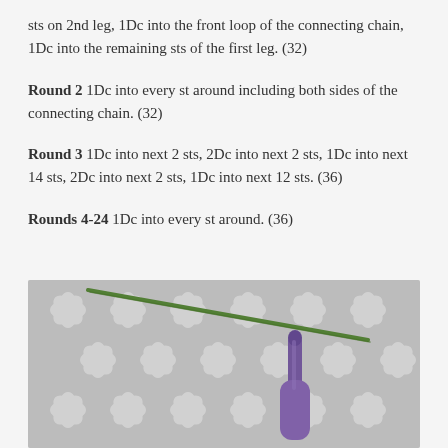sts on 2nd leg, 1Dc into the front loop of the connecting chain, 1Dc into the remaining sts of the first leg. (32)
Round 2 1Dc into every st around including both sides of the connecting chain. (32)
Round 3 1Dc into next 2 sts, 2Dc into next 2 sts, 1Dc into next 14 sts, 2Dc into next 2 sts, 1Dc into next 12 sts. (36)
Rounds 4-24 1Dc into every st around. (36)
[Figure (photo): Close-up photo of a purple crochet hook and green yarn on a grey and white floral patterned fabric background.]